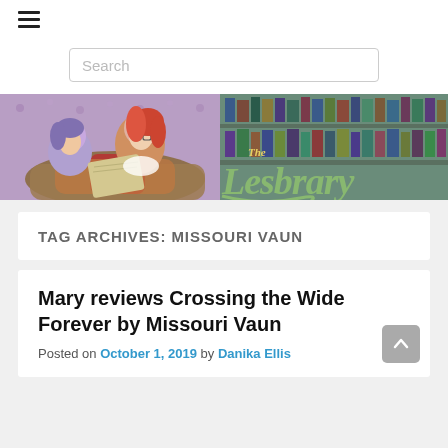[Figure (screenshot): Hamburger menu icon (three horizontal lines)]
[Figure (screenshot): Search input box with placeholder text 'Search']
[Figure (illustration): The Lesbrary website banner: illustrated art nouveau style two women reading a book together on a couch, with a bookshelf in the background and the text 'The Lesbrary' in large decorative lettering]
TAG ARCHIVES: MISSOURI VAUN
Mary reviews Crossing the Wide Forever by Missouri Vaun
Posted on October 1, 2019 by Danika Ellis